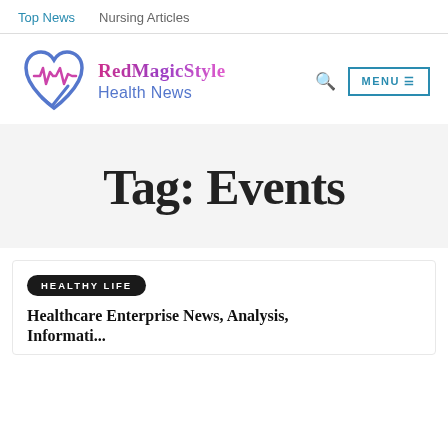Top News   Nursing Articles
[Figure (logo): RedMagicStyle Health News logo with heart and ECG line icon, plus MENU button and search icon]
Tag: Events
HEALTHY LIFE
Healthcare Enterprise News, Analysis, Information And Events From Mo...